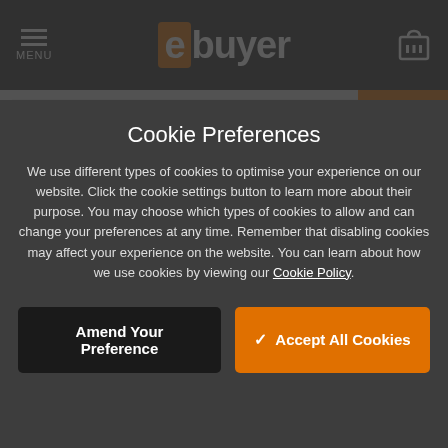MENU | ebuyer
(variable) (variable)
[Figure (logo): PayPal logo with blue P icon and PayPal text]
Cookie Preferences
We use different types of cookies to optimise your experience on our website. Click the cookie settings button to learn more about their purpose. You may choose which types of cookies to allow and can change your preferences at any time. Remember that disabling cookies may affect your experience on the website. You can learn about how we use cookies by viewing our Cookie Policy.
Amend Your Preference | ✓ Accept All Cookies